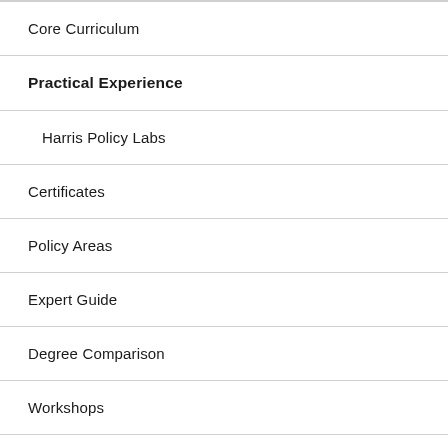Core Curriculum
Practical Experience
Harris Policy Labs
Certificates
Policy Areas
Expert Guide
Degree Comparison
Workshops